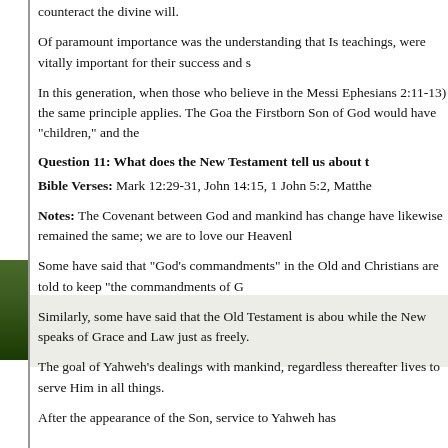counteract the divine will.
Of paramount importance was the understanding that Is teachings, were vitally important for their success and s
In this generation, when those who believe in the Messi Ephesians 2:11-13) the same principle applies. The Goa the Firstborn Son of God would have "children," and the
Question 11: What does the New Testament tell us about t
Bible Verses: Mark 12:29-31, John 14:15, 1 John 5:2, Matthe
Notes: The Covenant between God and mankind has change have likewise remained the same; we are to love our Heavenl
Some have said that "God's commandments" in the Old and Christians are told to keep "the commandments of G
Similarly, some have said that the Old Testament is abou while the New speaks of Grace and Law just as freely.
The goal of Yahweh's dealings with mankind, regardless thereafter lives to serve Him in all things.
After the appearance of the Son, service to Yahweh has